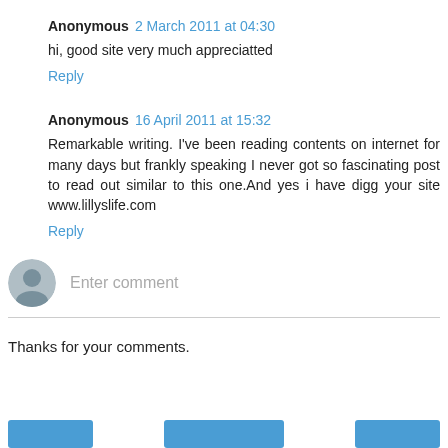Anonymous 2 March 2011 at 04:30
hi, good site very much appreciatted
Reply
Anonymous 16 April 2011 at 15:32
Remarkable writing. I've been reading contents on internet for many days but frankly speaking I never got so fascinating post to read out similar to this one.And yes i have digg your site www.lillyslife.com
Reply
Enter comment
Thanks for your comments.